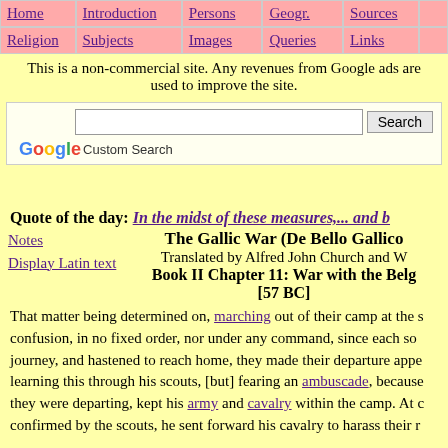Home | Introduction | Persons | Geogr. | Sources | Religion | Subjects | Images | Queries | Links
This is a non-commercial site. Any revenues from Google ads are used to improve the site.
[Figure (screenshot): Google Custom Search bar with text input and Search button]
Quote of the day: In the midst of these measures,... and b
Notes
Display Latin text
The Gallic War (De Bello Gallico)
Translated by Alfred John Church and W...
Book II Chapter 11: War with the Belg...
[57 BC]
That matter being determined on, marching out of their camp at the s confusion, in no fixed order, nor under any command, since each so journey, and hastened to reach home, they made their departure appe learning this through his scouts, [but] fearing an ambuscade, because they were departing, kept his army and cavalry within the camp. At confirmed by the scouts, he sent forward his cavalry to harass their r